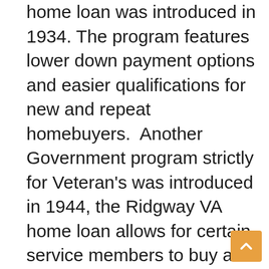home loan was introduced in 1934. The program features lower down payment options and easier qualifications for new and repeat homebuyers.  Another Government program strictly for Veteran's was introduced in 1944, the Ridgway VA home loan allows for certain service members to buy a home with no money down even with lower credit scores.  Another favorite of ours, the USDA home loan created in 1991 offers the no money down option.  Last but not least a homebuyer favorite the forgivable Ridgway FHA homebuyer grant.  With over 24 years of experience our experts are here to